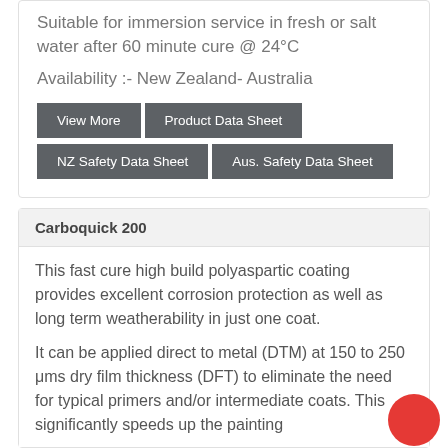Suitable for immersion service in fresh or salt water after 60 minute cure @ 24°C
Availability :- New Zealand- Australia
View More
Product Data Sheet
NZ Safety Data Sheet
Aus. Safety Data Sheet
Carboquick 200
This fast cure high build polyaspartic coating provides excellent corrosion protection as well as long term weatherability in just one coat.
It can be applied direct to metal (DTM) at 150 to 250 μms dry film thickness (DFT) to eliminate the need for typical primers and/or intermediate coats. This significantly speeds up the painting